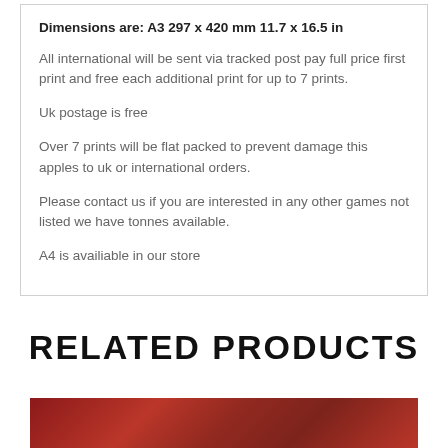Dimensions are: A3 297 x 420 mm 11.7 x 16.5 in
All international will be sent via tracked post pay full price first print and free each additional print for up to 7 prints.
Uk postage is free
Over 7 prints will be flat packed to prevent damage this apples to uk or international orders.
Please contact us if you are interested in any other games not listed we have tonnes available.
A4 is availiable in our store
RELATED PRODUCTS
[Figure (photo): Red marbled or glossy surface, partial view at bottom of page]